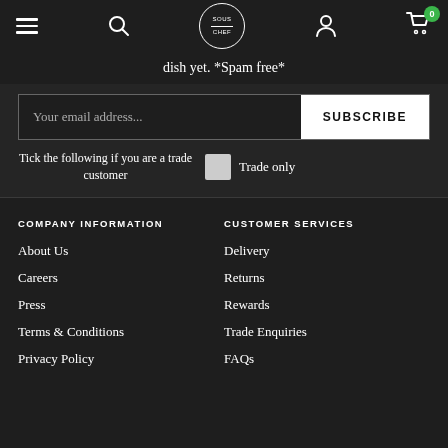Sous Chef navigation bar with hamburger menu, search, logo, user icon, and cart (0)
dish yet. *Spam free*
Your email address...
SUBSCRIBE
Tick the following if you are a trade customer
Trade only
COMPANY INFORMATION
About Us
Careers
Press
Terms & Conditions
Privacy Policy
CUSTOMER SERVICES
Delivery
Returns
Rewards
Trade Enquiries
FAQs